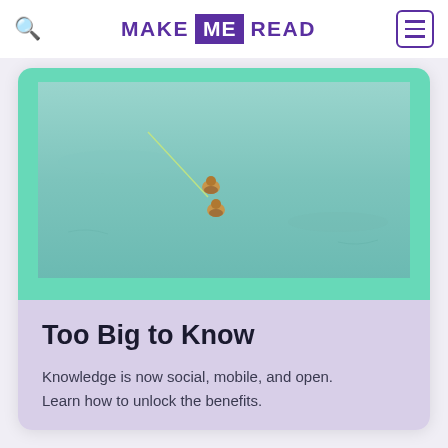MAKE ME READ
[Figure (photo): Aerial view of two divers or swimmers connected by a line over a pale turquoise/teal water surface]
Too Big to Know
Knowledge is now social, mobile, and open. Learn how to unlock the benefits.
READ MORE →